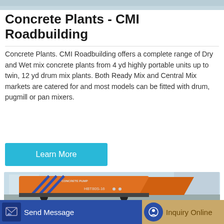[Figure (photo): Top strip showing a partial image of a construction/industrial site background]
Concrete Plants - CMI Roadbuilding
Concrete Plants. CMI Roadbuilding offers a complete range of Dry and Wet mix concrete plants from 4 yd highly portable units up to twin, 12 yd drum mix plants. Both Ready Mix and Central Mix markets are catered for and most models can be fitted with drum, pugmill or pan mixers.
[Figure (other): Learn More button - cyan/teal colored rectangular button]
[Figure (photo): Orange concrete pump machine (HBT80S-16) with blue stripe markings, labeled CONCRETE PUMP, parked outdoors]
[Figure (other): Bottom bar with Send Message button (blue) and Inquiry Online button (tan/gold)]